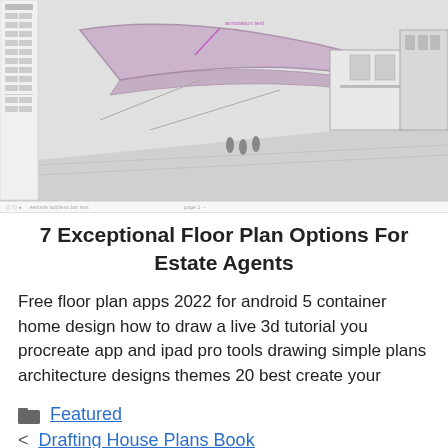[Figure (screenshot): Screenshot of a 3D architectural CAD/design software showing a building design with figures, curved roof structures, and building facades. A toolbar is visible on the left side.]
7 Exceptional Floor Plan Options For Estate Agents
Free floor plan apps 2022 for android 5 container home design how to draw a live 3d tutorial you procreate app and ipad pro tools drawing simple plans architecture designs themes 20 best create your
Featured
< Drafting House Plans Book